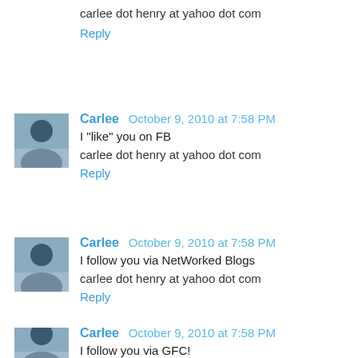carlee dot henry at yahoo dot com
Reply
Carlee  October 9, 2010 at 7:58 PM
I "like" you on FB
carlee dot henry at yahoo dot com
Reply
Carlee  October 9, 2010 at 7:58 PM
I follow you via NetWorked Blogs
carlee dot henry at yahoo dot com
Reply
Carlee  October 9, 2010 at 7:58 PM
I follow you via GFC!